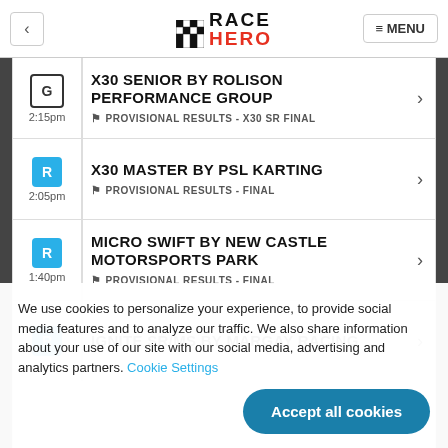< RACE HERO ≡ MENU
G 2:15pm | X30 SENIOR BY ROLISON PERFORMANCE GROUP > 🏁 PROVISIONAL RESULTS - X30 SR FINAL
R 2:05pm | X30 MASTER BY PSL KARTING > 🏁 PROVISIONAL RESULTS - FINAL
R 1:40pm | MICRO SWIFT BY NEW CASTLE MOTORSPORTS PARK > 🏁 PROVISIONAL RESULTS - FINAL
R | IGNITE SR/MS BY MARGAY RACING
We use cookies to personalize your experience, to provide social media features and to analyze our traffic. We also share information about your use of our site with our social media, advertising and analytics partners. Cookie Settings
Accept all cookies